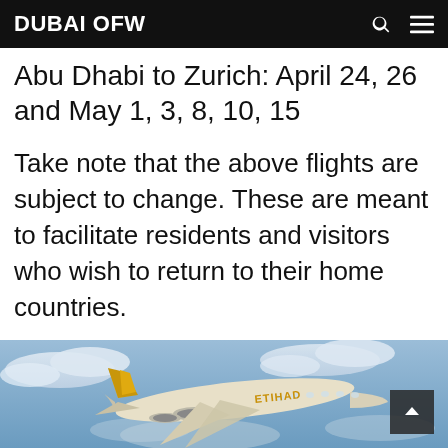DUBAI OFW
Abu Dhabi to Zurich: April 24, 26 and May 1, 3, 8, 10, 15
Take note that the above flights are subject to change. These are meant to facilitate residents and visitors who wish to return to their home countries.
[Figure (photo): Etihad Airways passenger airplane flying above clouds]